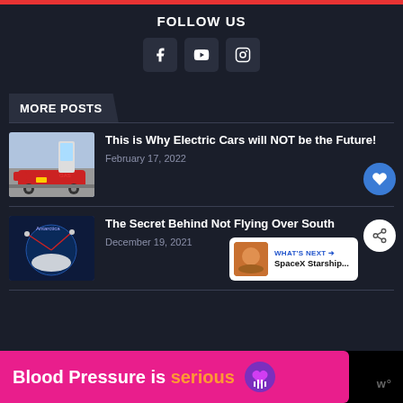FOLLOW US
[Figure (infographic): Social media follow icons: Facebook (f), YouTube (play button), Instagram (camera)]
MORE POSTS
[Figure (illustration): Thumbnail of electric car at charging station comic illustration]
This is Why Electric Cars will NOT be the Future!
February 17, 2022
[Figure (illustration): Thumbnail of Antarctica globe map with flight paths]
The Secret Behind Not Flying Over South
December 19, 2021
[Figure (infographic): WHAT'S NEXT arrow with SpaceX Starship... label and orange planet thumbnail]
[Figure (infographic): Advertisement banner: Blood Pressure is serious with heart logo and Mastercard logo]